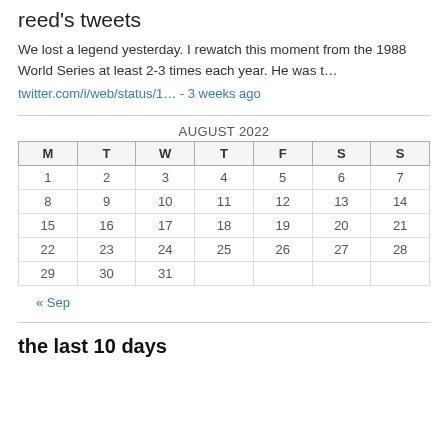reed's tweets
We lost a legend yesterday. I rewatch this moment from the 1988 World Series at least 2-3 times each year. He was t…
twitter.com/i/web/status/1… - 3 weeks ago
| M | T | W | T | F | S | S |
| --- | --- | --- | --- | --- | --- | --- |
| 1 | 2 | 3 | 4 | 5 | 6 | 7 |
| 8 | 9 | 10 | 11 | 12 | 13 | 14 |
| 15 | 16 | 17 | 18 | 19 | 20 | 21 |
| 22 | 23 | 24 | 25 | 26 | 27 | 28 |
| 29 | 30 | 31 |  |  |  |  |
« Sep
the last 10 days